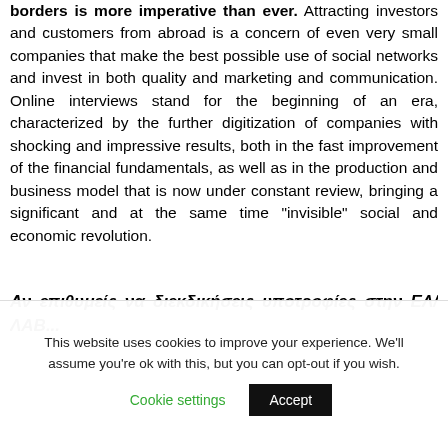borders is more imperative than ever. Attracting investors and customers from abroad is a concern of even very small companies that make the best possible use of social networks and invest in both quality and marketing and communication. Online interviews stand for the beginning of an era, characterized by the further digitization of companies with shocking and impressive results, both in the fast improvement of the financial fundamentals, as well as in the production and business model that is now under constant review, bringing a significant and at the same time “invisible” social and economic revolution.
Αν επιθυμείς να διεκδικήσεις υποτροφίες στην ΕΛ/ΛΑΒ...
This website uses cookies to improve your experience. We'll assume you're ok with this, but you can opt-out if you wish.